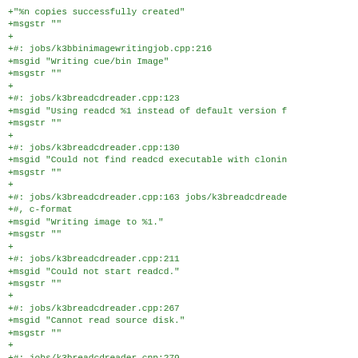+"%n copies successfully created"
+msgstr ""
+
+#: jobs/k3bbinimagewritingjob.cpp:216
+msgid "Writing cue/bin Image"
+msgstr ""
+
+#: jobs/k3breadcdreader.cpp:123
+msgid "Using readcd %1 instead of default version f
+msgstr ""
+
+#: jobs/k3breadcdreader.cpp:130
+msgid "Could not find readcd executable with clonin
+msgstr ""
+
+#: jobs/k3breadcdreader.cpp:163 jobs/k3breadcdreade
+#, c-format
+msgid "Writing image to %1."
+msgstr ""
+
+#: jobs/k3breadcdreader.cpp:211
+msgid "Could not start readcd."
+msgstr ""
+
+#: jobs/k3breadcdreader.cpp:267
+msgid "Cannot read source disk."
+msgstr ""
+
+#: jobs/k3breadcdreader.cpp:279
+#, c-format